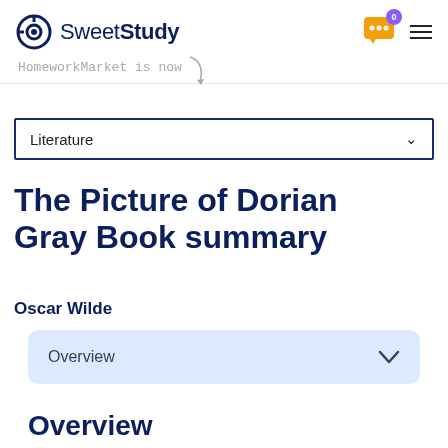SweetStudy — HomeworkMarket is now
Literature
The Picture of Dorian Gray Book summary
Oscar Wilde
Overview
Overview